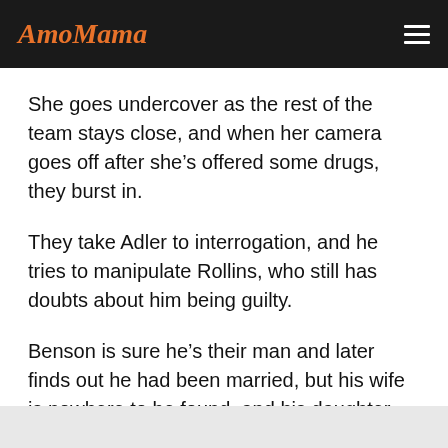AmoMama
She goes undercover as the rest of the team stays close, and when her camera goes off after she’s offered some drugs, they burst in.
They take Adler to interrogation, and he tries to manipulate Rollins, who still has doubts about him being guilty.
Benson is sure he’s their man and later finds out he had been married, but his wife is nowhere to be found, and his daughter believes he’s some kind of “savior.” They late found the wife in a psych ward, although the daughter believed she was dead.